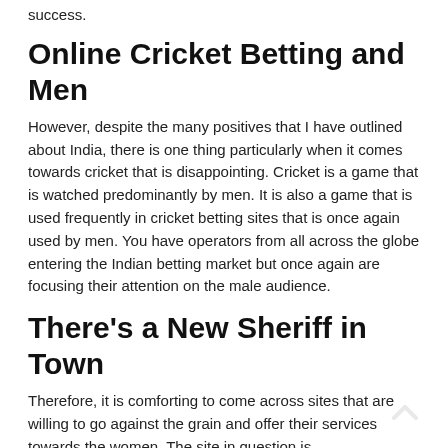success.
Online Cricket Betting and Men
However, despite the many positives that I have outlined about India, there is one thing particularly when it comes towards cricket that is disappointing. Cricket is a game that is watched predominantly by men. It is also a game that is used frequently in cricket betting sites that is once again used by men. You have operators from all across the globe entering the Indian betting market but once again are focusing their attention on the male audience.
There's a New Sheriff in Town
Therefore, it is comforting to come across sites that are willing to go against the grain and offer their services towards the women. The site in question is cricketbettingwali.in and it doesn't take too long to